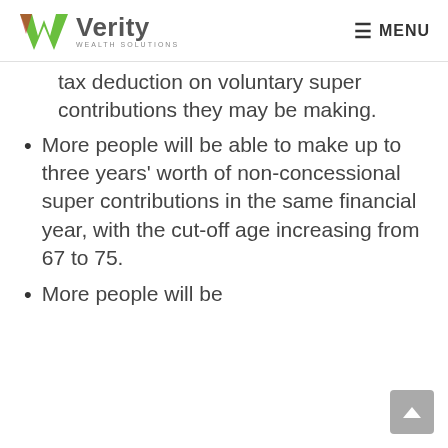Verity Wealth Solutions — MENU
tax deduction on voluntary super contributions they may be making.
More people will be able to make up to three years' worth of non-concessional super contributions in the same financial year, with the cut-off age increasing from 67 to 75.
More people will be